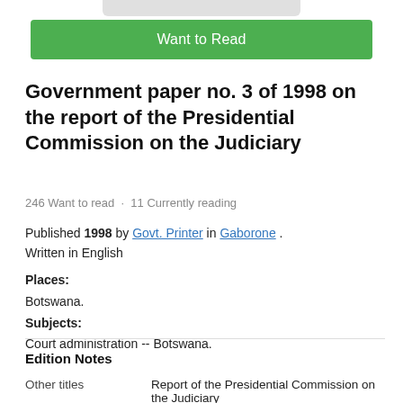[Figure (other): Gray rounded rectangle bar at top (partial book cover or UI element)]
[Figure (other): Green 'Want to Read' button]
Government paper no. 3 of 1998 on the report of the Presidential Commission on the Judiciary
246 Want to read · 11 Currently reading
Published 1998 by Govt. Printer in Gaborone . Written in English
Places:
Botswana.
Subjects:
Court administration -- Botswana.
Edition Notes
|  |  |
| --- | --- |
| Other titles | Report of the Presidential Commission on the Judiciary |
| Statement... | Republic of Bots... |